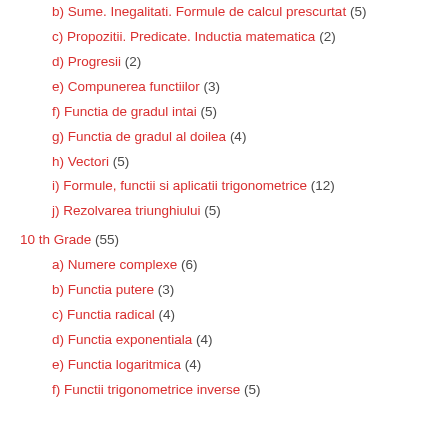b) Sume. Inegalitati. Formule de calcul prescurtat (5)
c) Propozitii. Predicate. Inductia matematica (2)
d) Progresii (2)
e) Compunerea functiilor (3)
f) Functia de gradul intai (5)
g) Functia de gradul al doilea (4)
h) Vectori (5)
i) Formule, functii si aplicatii trigonometrice (12)
j) Rezolvarea triunghiului (5)
10 th Grade (55)
a) Numere complexe (6)
b) Functia putere (3)
c) Functia radical (4)
d) Functia exponentiala (4)
e) Functia logaritmica (4)
f) Functii trigonometrice inverse (5)